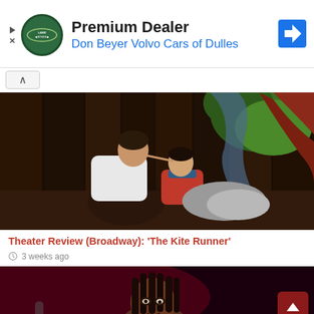[Figure (other): Advertisement banner: Land Rover logo, 'Premium Dealer' text, 'Don Beyer Volvo Cars of Dulles' in blue, Google Maps navigation icon]
[Figure (photo): Theater stage photo: two actors (adult man in white shirt and young boy in red jacket) leaning heads together on stage with tree backdrop for The Kite Runner on Broadway]
Theater Review (Broadway): ‘The Kite Runner’
3 weeks ago
[Figure (photo): Partial photo of a Black woman performer on stage, dark red/black background, bottom portion of page]